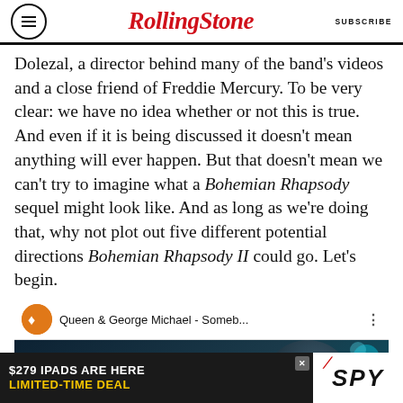RollingStone | SUBSCRIBE
Dolezal, a director behind many of the band's videos and a close friend of Freddie Mercury. To be very clear: we have no idea whether or not this is true. And even if it is being discussed it doesn't mean anything will ever happen. But that doesn't mean we can't try to imagine what a Bohemian Rhapsody sequel might look like. And as long as we're doing that, why not plot out five different potential directions Bohemian Rhapsody II could go. Let's begin.
[Figure (screenshot): YouTube video embed showing Queen & George Michael - Someb... with channel icon and thumbnail showing QUEEN & text overlay]
[Figure (other): Advertisement banner: $279 IPADS ARE HERE LIMITED-TIME DEAL with SPY logo]